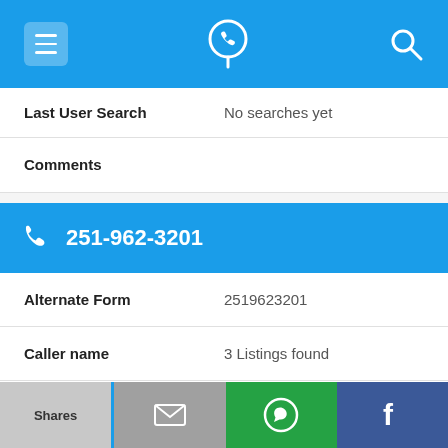App navigation bar with menu, phone locator, and search icons
Last User Search | No searches yet
Comments
251-962-3201
Alternate Form | 2519623201
Caller name | 3 Listings found
Last User Search | No searches yet
Comments
Shares | Email | WhatsApp | Facebook